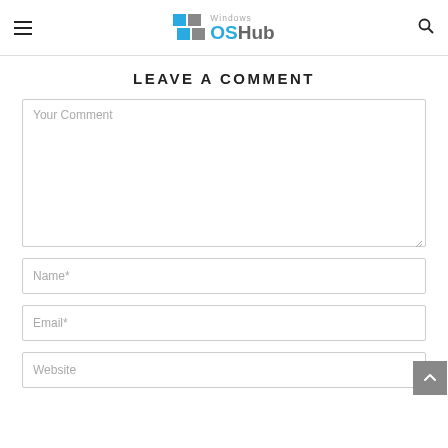Windows OSHub — navigation header with hamburger menu and search icon
LEAVE A COMMENT
[Figure (screenshot): Comment form with fields: Your Comment (textarea), Name*, Email*, Website]
Your Comment
Name*
Email*
Website